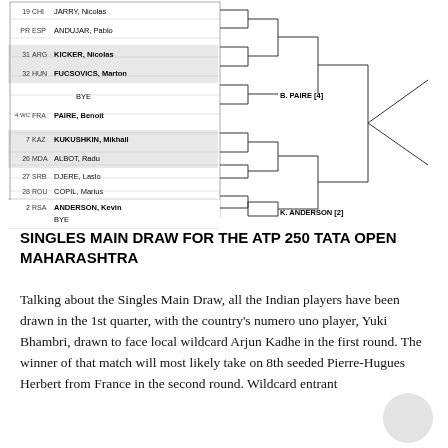[Figure (other): Tennis singles draw bracket showing player matchups with connecting lines for ATP 250 Tata Open Maharashtra. Players include CHI JARRY Nicolas, ESP ANDUJAR Pablo, ARG KICKER Nicolas, HUN FUCSOVICS Marton, BYE, FRA PAIRE Benoit (4 WC), KAZ KUKUSHKIN Mikhail, MDA ALBOT Radu, SRB DJERE Laslo, ROU COPIL Marius, QUALIFIER, BEL BEMELMANS Ruben, BYE, RSA ANDERSON Kevin (2). Bracket results labels: B. PAIRE [4] and K. ANDERSON [2].]
SINGLES MAIN DRAW FOR THE ATP 250 TATA OPEN MAHARASHTRA
Talking about the Singles Main Draw, all the Indian players have been drawn in the 1st quarter, with the country's numero uno player, Yuki Bhambri, drawn to face local wildcard Arjun Kadhe in the first round. The winner of that match will most likely take on 8th seeded Pierre-Hugues Herbert from France in the second round. Wildcard entrant